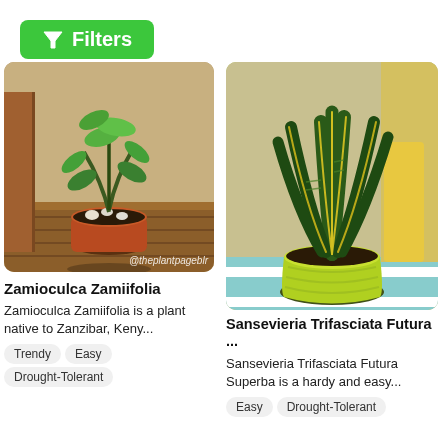[Figure (screenshot): Green filter button with funnel icon and text 'Filters' on green rounded rectangle background]
[Figure (photo): ZZ plant (Zamioculca Zamiifolia) in a terracotta/orange pot on a wooden surface, indoor setting with wooden shelf in background. Watermark: @theplantpageblr]
Zamioculca Zamiifolia
Zamioculca Zamiifolia is a plant native to Zanzibar, Keny...
Trendy
Easy
Drought-Tolerant
[Figure (photo): Snake plant (Sansevieria Trifasciata Futura Superba) with yellow-edged dark green pointed leaves in a yellow/lime green pot on a striped blue surface]
Sansevieria Trifasciata Futura ...
Sansevieria Trifasciata Futura Superba is a hardy and easy...
Easy
Drought-Tolerant